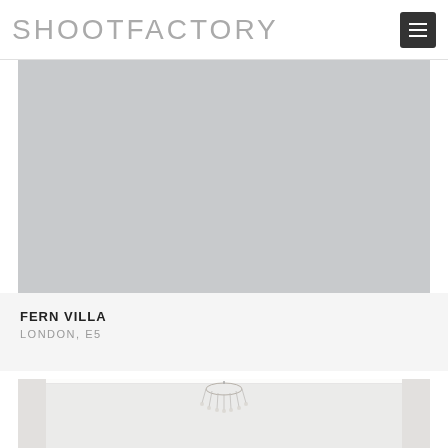SHOOTFACTORY
[Figure (photo): Large grey/silver placeholder image representing a room or interior location]
FERN VILLA
LONDON, E5
[Figure (photo): Partial view of a white interior room with ceiling moulding and a crystal chandelier]